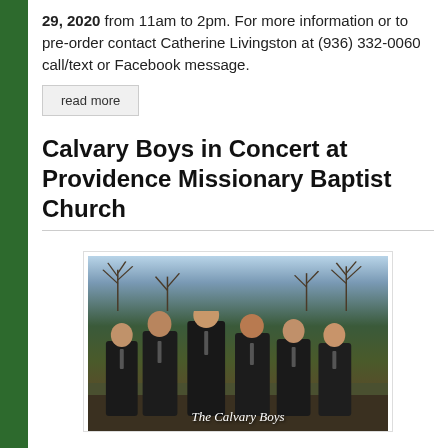29, 2020 from 11am to 2pm. For more information or to pre-order contact Catherine Livingston at (936) 332-0060 call/text or Facebook message.
read more
Calvary Boys in Concert at Providence Missionary Baptist Church
[Figure (photo): Group photo of six men dressed in dark suits standing outdoors in front of bare winter trees. Text 'The Calvary Boys' appears at the bottom of the image.]